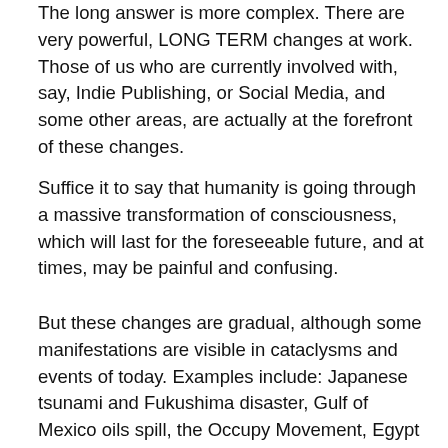The long answer is more complex. There are very powerful, LONG TERM changes at work. Those of us who are currently involved with, say, Indie Publishing, or Social Media, and some other areas, are actually at the forefront of these changes.
Suffice it to say that humanity is going through a massive transformation of consciousness, which will last for the foreseeable future, and at times, may be painful and confusing.
But these changes are gradual, although some manifestations are visible in cataclysms and events of today. Examples include: Japanese tsunami and Fukushima disaster, Gulf of Mexico oils spill, the Occupy Movement, Egypt Revolution, US/Europe Economic Problems, The BRICS, Kindle and Indie Publishing Revolution and many others...